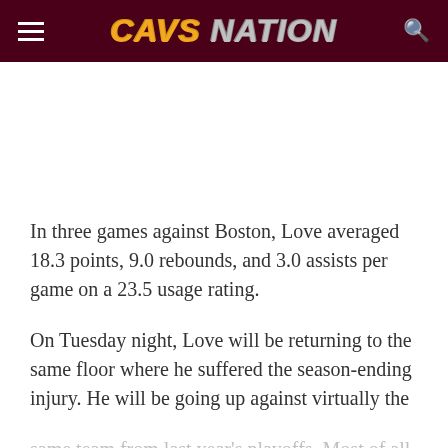CAVS NATION
In three games against Boston, Love averaged 18.3 points, 9.0 rebounds, and 3.0 assists per game on a 23.5 usage rating.
On Tuesday night, Love will be returning to the same floor where he suffered the season-ending injury. He will be going up against virtually the same team from last year's playoffs. Most of all,